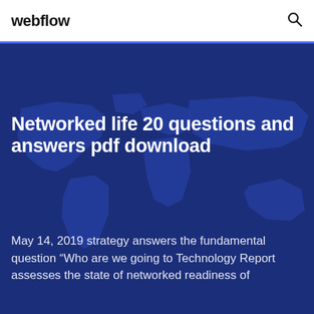webflow
[Figure (illustration): Dark blue world map silhouette background for hero section]
Networked life 20 questions and answers pdf download
May 14, 2019 strategy answers the fundamental question “Who are we going to Technology Report assesses the state of networked readiness of